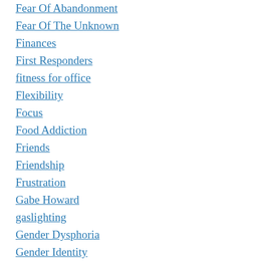Fear Of Abandonment
Fear Of The Unknown
Finances
First Responders
fitness for office
Flexibility
Focus
Food Addiction
Friends
Friendship
Frustration
Gabe Howard
gaslighting
Gender Dysphoria
Gender Identity